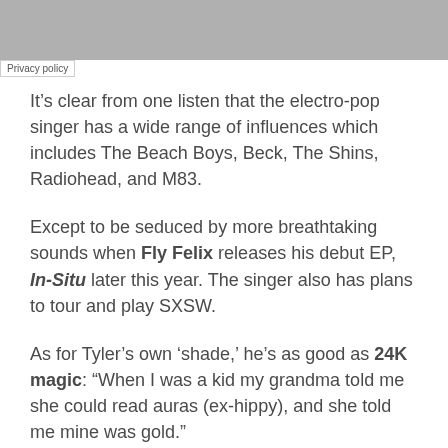Privacy policy
It’s clear from one listen that the electro-pop singer has a wide range of influences which includes The Beach Boys, Beck, The Shins, Radiohead, and M83.
Except to be seduced by more breathtaking sounds when Fly Felix releases his debut EP, In-Situ later this year. The singer also has plans to tour and play SXSW.
As for Tyler’s own ‘shade,’ he’s as good as 24K magic: “When I was a kid my grandma told me she could read auras (ex-hippy), and she told me mine was gold.”